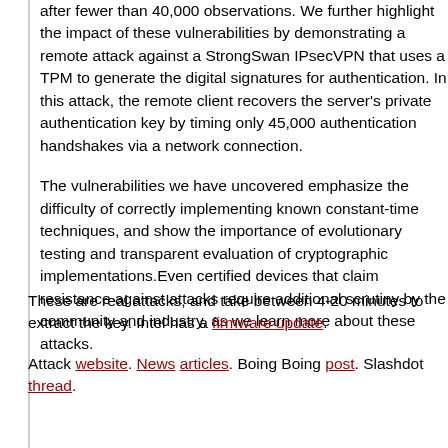after fewer than 40,000 observations. We further highlight the impact of these vulnerabilities by demonstrating a remote attack against a StrongSwan IPsecVPN that uses a TPM to generate the digital signatures for authentication. In this attack, the remote client recovers the server's private authentication key by timing only 45,000 authentication handshakes via a network connection.
The vulnerabilities we have uncovered emphasize the difficulty of correctly implementing known constant-time techniques, and show the importance of evolutionary testing and transparent evaluation of cryptographic implementations.Even certified devices that claim resistance against attacks require additional scrutiny by the community and industry, as we learn more about these attacks.
These are real attacks, and take between 4-20 minutes to extract the key. Intel has a firmware update.
Attack website. News articles. Boing Boing post. Slashdot thread.